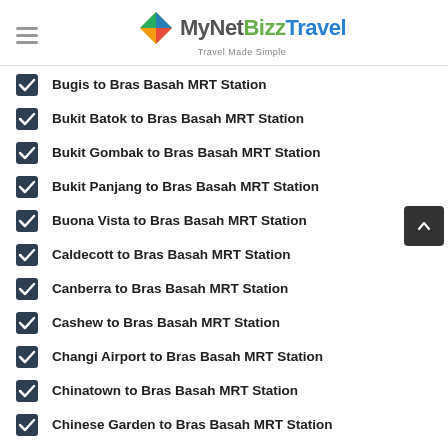MyNetBizzTravel — Travel Made Simple
Bugis to Bras Basah MRT Station
Bukit Batok to Bras Basah MRT Station
Bukit Gombak to Bras Basah MRT Station
Bukit Panjang to Bras Basah MRT Station
Buona Vista to Bras Basah MRT Station
Caldecott to Bras Basah MRT Station
Canberra to Bras Basah MRT Station
Cashew to Bras Basah MRT Station
Changi Airport to Bras Basah MRT Station
Chinatown to Bras Basah MRT Station
Chinese Garden to Bras Basah MRT Station